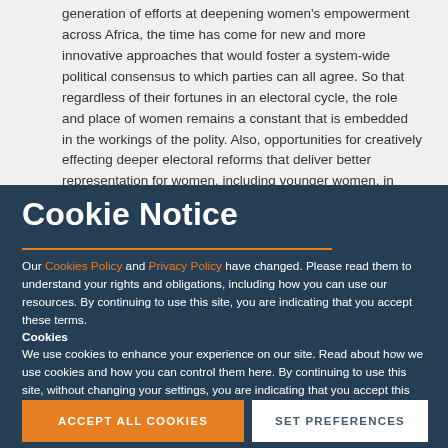generation of efforts at deepening women's empowerment across Africa, the time has come for new and more innovative approaches that would foster a system-wide political consensus to which parties can all agree. So that regardless of their fortunes in an electoral cycle, the role and place of women remains a constant that is embedded in the workings of the polity. Also, opportunities for creatively effecting deeper electoral reforms that deliver better representation for women, including younger women, in political institutions need to be explored
Cookie Notice
Our Cookies Policy and Privacy Policy have changed. Please read them to understand your rights and obligations, including how you can use our resources. By continuing to use this site, you are indicating that you accept these terms.
Cookies
We use cookies to enhance your experience on our site. Read about how we use cookies and how you can control them here. By continuing to use this site, without changing your settings, you are indicating that you accept this policy.
ACCEPT ALL COOKIES
SET PREFERENCES